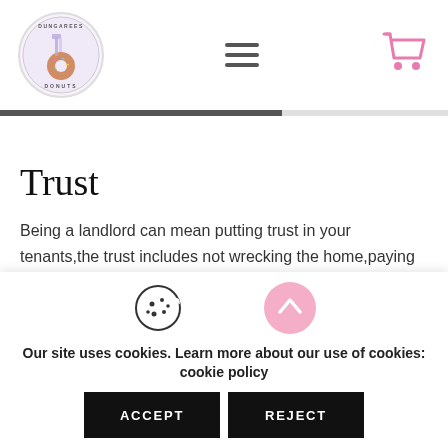[Figure (logo): Dungarees Donuts circular logo with illustrated characters and donuts]
[Figure (illustration): Hamburger menu icon (three horizontal lines)]
[Figure (illustration): Pink shopping cart icon]
Trust
Being a landlord can mean putting trust in your tenants,the trust includes not wrecking the home,paying the rent on time and to advise if anything goes wrong. With good lines of communication
[Figure (illustration): Cookie icon (round cookie with dots and a bite taken out)]
[Figure (illustration): Pink circular up-arrow button]
Our site uses cookies. Learn more about our use of cookies: cookie policy
ACCEPT
REJECT